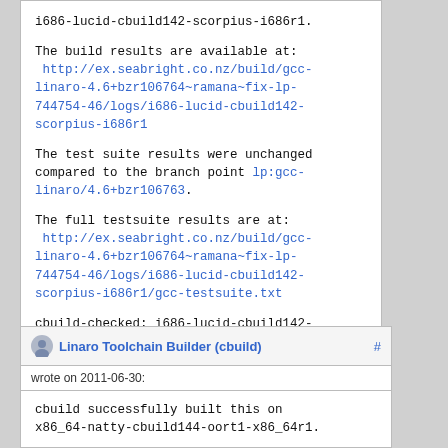i686-lucid-cbuild142-scorpius-i686r1.

The build results are available at:
 http://ex.seabright.co.nz/build/gcc-linaro-4.6+bzr106764~ramana~fix-lp-744754-46/logs/i686-lucid-cbuild142-scorpius-i686r1

The test suite results were unchanged compared to the branch point lp:gcc-linaro/4.6+bzr106763.

The full testsuite results are at:
 http://ex.seabright.co.nz/build/gcc-linaro-4.6+bzr106764~ramana~fix-lp-744754-46/logs/i686-lucid-cbuild142-scorpius-i686r1/gcc-testsuite.txt

cbuild-checked: i686-lucid-cbuild142-scorpius-i686r1
Linaro Toolchain Builder (cbuild) wrote on 2011-06-30:
cbuild successfully built this on x86_64-natty-cbuild144-oort1-x86_64r1.